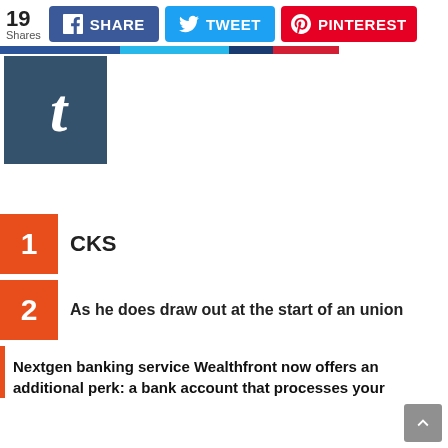[Figure (screenshot): Social share bar showing 19 Shares, Facebook SHARE button, Twitter TWEET button, Pinterest PINTEREST button]
[Figure (logo): Tumblr logo icon — white italic t on dark blue square background]
1 CKS
2 As he does draw out at the start of an union
Nextgen banking service Wealthfront now offers an additional perk: a bank account that processes your